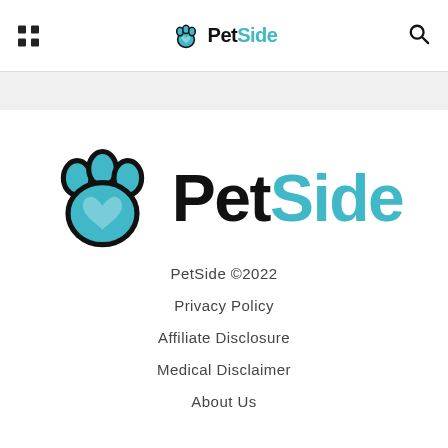PetSide
[Figure (logo): PetSide logo with teal paw print icon and text 'PetSide' where 'Pet' is black and 'Side' is teal]
PetSide ©2022
Privacy Policy
Affiliate Disclosure
Medical Disclaimer
About Us